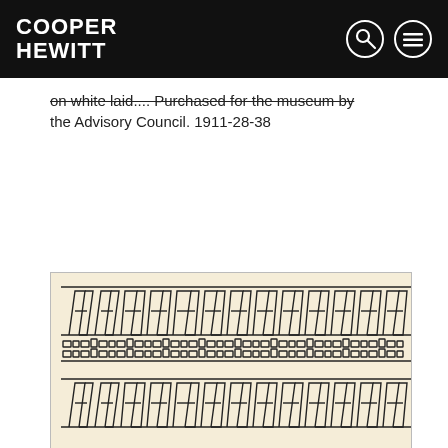COOPER HEWITT
on white laid.... Purchased for the museum by the Advisory Council. 1911-28-38
[Figure (illustration): Textile or decorative pattern showing repeating geometric shapes — angular letter-like forms and interlocking rectangular elements arranged in horizontal rows on a cream/ivory background, rendered in black outlines.]